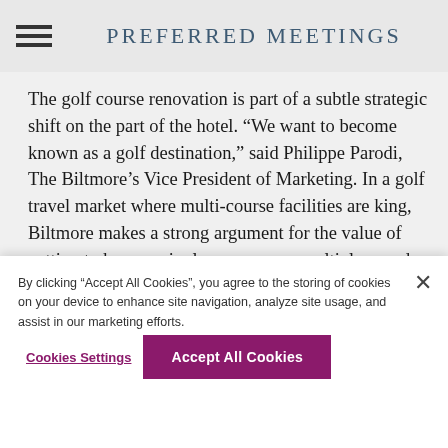PREFERRED MEETINGS
The golf course renovation is part of a subtle strategic shift on the part of the hotel. “We want to become known as a golf destination,” said Philippe Parodi, The Biltmore’s Vice President of Marketing. In a golf travel market where multi-course facilities are king, Biltmore makes a strong argument for the value of getting to know a single course over multiple rounds. The hotel
By clicking “Accept All Cookies”, you agree to the storing of cookies on your device to enhance site navigation, analyze site usage, and assist in our marketing efforts.
Cookies Settings
Accept All Cookies